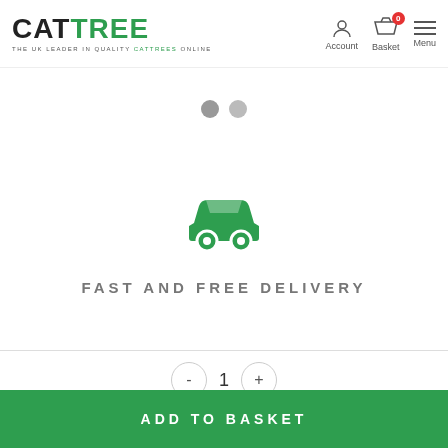[Figure (logo): CATTREE logo with tagline 'THE UK LEADER IN QUALITY CATTREES ONLINE']
[Figure (illustration): Navigation icons: Account (person silhouette), Basket (basket with red badge showing 0), Menu (hamburger lines)]
[Figure (illustration): Two carousel indicator dots (filled circle, outline circle) at top]
[Figure (illustration): Green car/delivery icon]
FAST AND FREE DELIVERY
[Figure (illustration): Two carousel indicator dots (filled circle, outline circle) at bottom]
[Figure (illustration): Quantity control: minus button, number 1, plus button]
ADD TO BASKET